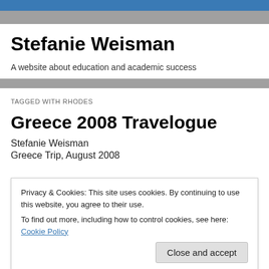Stefanie Weisman
A website about education and academic success
TAGGED WITH RHODES
Greece 2008 Travelogue
Stefanie Weisman
Greece Trip, August 2008
Privacy & Cookies: This site uses cookies. By continuing to use this website, you agree to their use.
To find out more, including how to control cookies, see here: Cookie Policy
Close and accept
The taxi dropped us off at Hotel Central in the Plaka